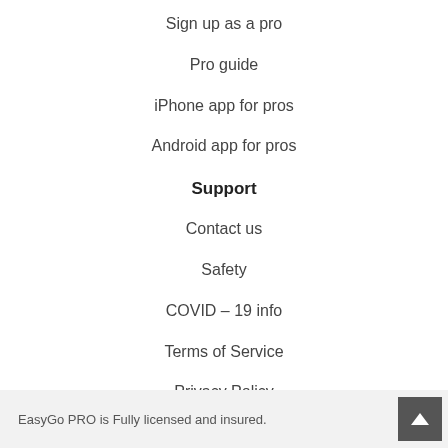Sign up as a pro
Pro guide
iPhone app for pros
Android app for pros
Support
Contact us
Safety
COVID – 19 info
Terms of Service
Privacy Policy
EasyGo PRO is Fully licensed and insured.